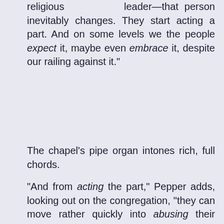religious leader—that person inevitably changes. They start acting a part. And on some levels we the people expect it, maybe even embrace it, despite our railing against it."
The chapel's pipe organ intones rich, full chords.
"And from acting the part," Pepper adds, looking out on the congregation, "they can move rather quickly into abusing their part."
"Sad to say. Not everyone, of course, but many. The most well-intentioned guy or gal can transform into a greedy alpha, totally besotted by position, title, and the ability to snap a finger and get a result."
The singing begins. Praise God from whom all blessings flow.